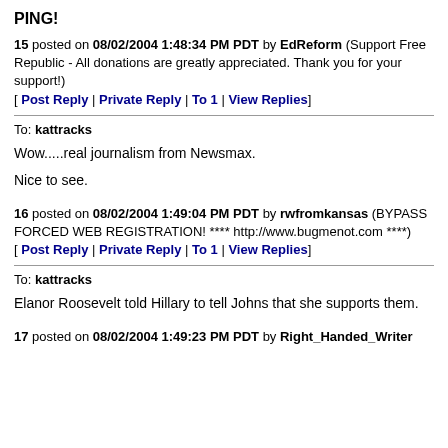PING!
15 posted on 08/02/2004 1:48:34 PM PDT by EdReform (Support Free Republic - All donations are greatly appreciated. Thank you for your support!) [ Post Reply | Private Reply | To 1 | View Replies]
To: kattracks
Wow.....real journalism from Newsmax.
Nice to see.
16 posted on 08/02/2004 1:49:04 PM PDT by rwfromkansas (BYPASS FORCED WEB REGISTRATION! **** http://www.bugmenot.com ****) [ Post Reply | Private Reply | To 1 | View Replies]
To: kattracks
Elanor Roosevelt told Hillary to tell Johns that she supports them.
17 posted on 08/02/2004 1:49:23 PM PDT by Right_Handed_Writer